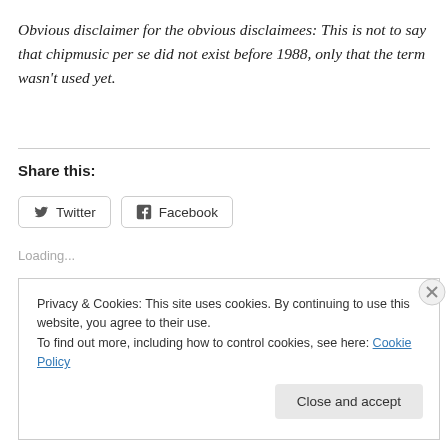Obvious disclaimer for the obvious disclaimees: This is not to say that chipmusic per se did not exist before 1988, only that the term wasn't used yet.
Share this:
[Figure (other): Twitter and Facebook share buttons]
Loading...
Privacy & Cookies: This site uses cookies. By continuing to use this website, you agree to their use.
To find out more, including how to control cookies, see here: Cookie Policy
Close and accept